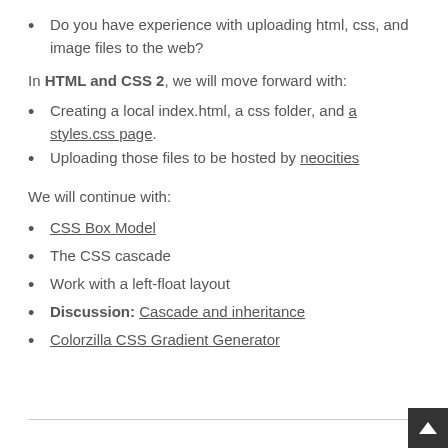Do you have experience with uploading html, css, and image files to the web?
In HTML and CSS 2, we will move forward with:
Creating a local index.html, a css folder, and a styles.css page.
Uploading those files to be hosted by neocities
We will continue with:
CSS Box Model
The CSS cascade
Work with a left-float layout
Discussion: Cascade and inheritance
Colorzilla CSS Gradient Generator